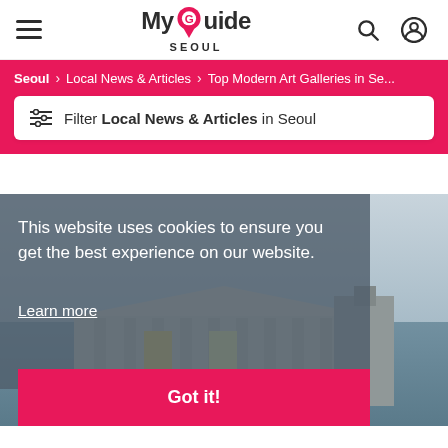MyGuide Seoul
Seoul > Local News & Articles > Top Modern Art Galleries in Se...
Filter Local News & Articles in Seoul
[Figure (photo): Photo of a neoclassical museum building at dusk with a fountain in front, lit with warm lights]
This website uses cookies to ensure you get the best experience on our website.
Learn more
Got it!